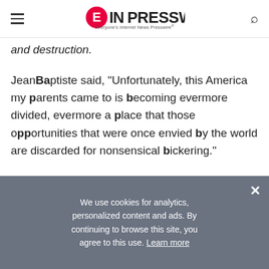EIN PRESSWIRE — Everyone's Internet News Presswire
and destruction.
JeanBaptiste said, "Unfortunately, this America my parents came to is becoming evermore divided, evermore a place that those opportunities that were once envied by the world are discarded for nonsensical bickering."
So, he is building a house and that house is America.
We use cookies for analytics, personalized content and ads. By continuing to browse this site, you agree to this use. Learn more